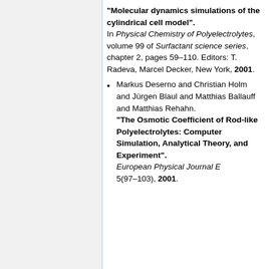"Molecular dynamics simulations of the cylindrical cell model". In Physical Chemistry of Polyelectrolytes, volume 99 of Surfactant science series, chapter 2, pages 59–110. Editors: T. Radeva, Marcel Decker, New York, 2001.
Markus Deserno and Christian Holm and Jürgen Blaul and Matthias Ballauff and Matthias Rehahn. "The Osmotic Coefficient of Rod-like Polyelectrolytes: Computer Simulation, Analytical Theory, and Experiment". European Physical Journal E 5(97–103), 2001.